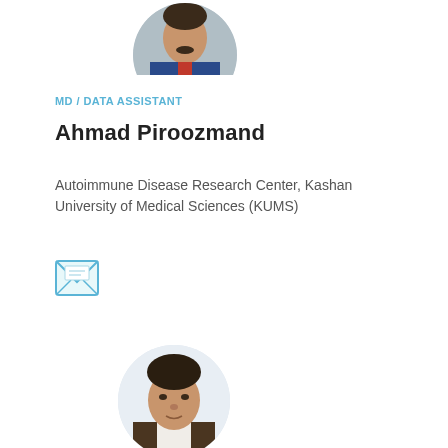[Figure (photo): Circular profile photo of Ahmad Piroozmand, partially cropped at top]
MD / DATA ASSISTANT
Ahmad Piroozmand
Autoimmune Disease Research Center, Kashan University of Medical Sciences (KUMS)
[Figure (illustration): Email envelope icon in teal/blue color]
[Figure (photo): Circular profile photo of a second person, partially cropped at bottom of page]